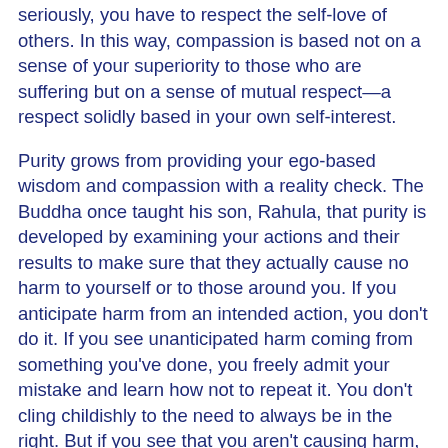seriously, you have to respect the self-love of others. In this way, compassion is based not on a sense of your superiority to those who are suffering but on a sense of mutual respect—a respect solidly based in your own self-interest.
Purity grows from providing your ego-based wisdom and compassion with a reality check. The Buddha once taught his son, Rahula, that purity is developed by examining your actions and their results to make sure that they actually cause no harm to yourself or to those around you. If you anticipate harm from an intended action, you don't do it. If you see unanticipated harm coming from something you've done, you freely admit your mistake and learn how not to repeat it. You don't cling childishly to the need to always be in the right. But if you see that you aren't causing harm, you can take joy in the fact that you're on the path to true happiness.
Because the Buddha saw how these enlightened qualities of wisdom, compassion, and purity could